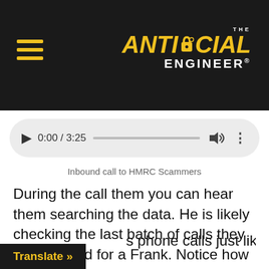THE ANTISOCIAL ENGINEER
[Figure (screenshot): Audio player showing 0:00 / 3:25 with play button, progress bar, volume and more options icons]
Inbound call to HMRC Scammers
During the call them you can hear them searching the data. He is likely checking the last batch of calls they have placed for a Frank. Notice how he doesn't ask for Frank's last name? But he knows there was no Frank in the records. Without identifying the caller (phone on withheld too) he couldn't progress s phone calls just like this that use d follow up until for int
Translate »